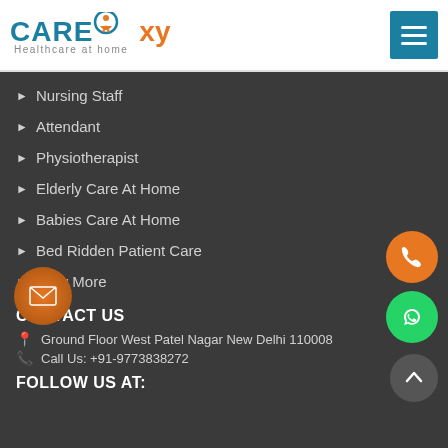[Figure (logo): CareOxy Healthcare at home logo with teal CARE text, orange figure in circle, orange xy text, and tagline Healthcare at home]
Nursing Staff
Attendant
Physiotherapist
Elderly Care At Home
Babies Care At Home
Bed Ridden Patient Care
View More
CONTACT US
Ground Floor West Patel Nagar New Delhi 110008
Call Us: +91-9773838272
FOLLOW US AT: